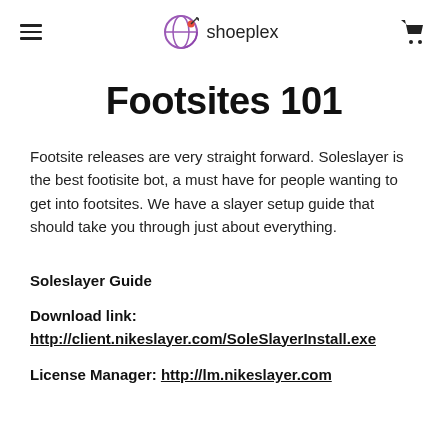shoeplex
Footsites 101
Footsite releases are very straight forward. Soleslayer is the best footisite bot, a must have for people wanting to get into footsites. We have a slayer setup guide that should take you through just about everything.
Soleslayer Guide
Download link: http://client.nikeslayer.com/SoleSlayerInstall.exe
License Manager: http://lm.nikeslayer.com